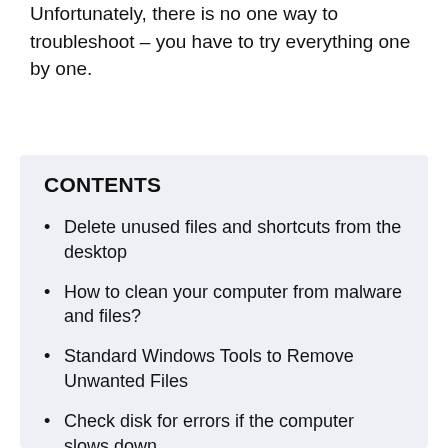Unfortunately, there is no one way to troubleshoot – you have to try everything one by one.
CONTENTS
Delete unused files and shortcuts from the desktop
How to clean your computer from malware and files?
Standard Windows Tools to Remove Unwanted Files
Check disk for errors if the computer slows down
Uninstall unused programs
Clean Windows Registry